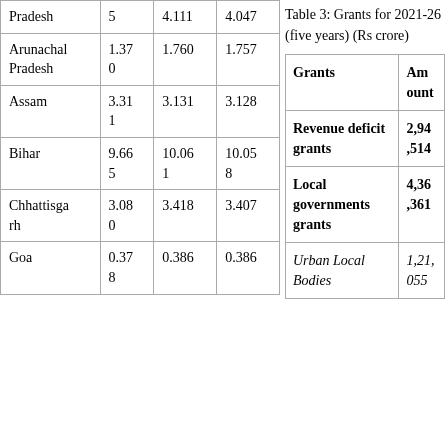| State | Col2 | Col3 | Col4 |
| --- | --- | --- | --- |
| Pradesh | 5 | 4.111 | 4.047 |
| Arunachal Pradesh | 1.370 | 1.760 | 1.757 |
| Assam | 3.311 | 3.131 | 3.128 |
| Bihar | 9.665 | 10.061 | 10.058 |
| Chhattisgarh | 3.080 | 3.418 | 3.407 |
| Goa | 0.378 | 0.386 | 0.386 |
Table 3: Grants for 2021-26 (five years) (Rs crore)
| Grants | Amount |
| --- | --- |
| Revenue deficit grants | 2,94,514 |
| Local governments grants | 4,36,361 |
| Urban Local Bodies | 1,21,055 |